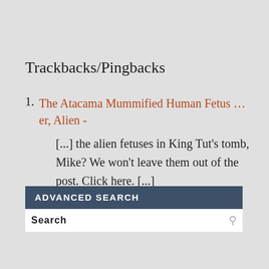Trackbacks/Pingbacks
The Atacama Mummified Human Fetus … er, Alien - [...] the alien fetuses in King Tut's tomb, Mike? We won't leave them out of the post. Click here. [...]
ADVANCED SEARCH
SEARCH